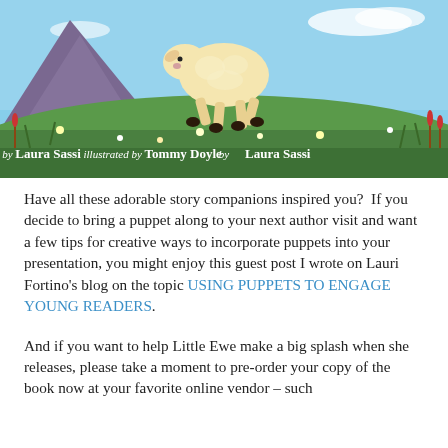[Figure (illustration): Book cover illustration showing a lamb leaping over a grassy meadow with mountains and blue sky in the background. Text reads 'by Laura Sassi illustrated by Tommy Doyle'.]
Have all these adorable story companions inspired you?  If you decide to bring a puppet along to your next author visit and want a few tips for creative ways to incorporate puppets into your presentation, you might enjoy this guest post I wrote on Lauri Fortino's blog on the topic USING PUPPETS TO ENGAGE YOUNG READERS.
And if you want to help Little Ewe make a big splash when she releases, please take a moment to pre-order your copy of the book now at your favorite online vendor – such